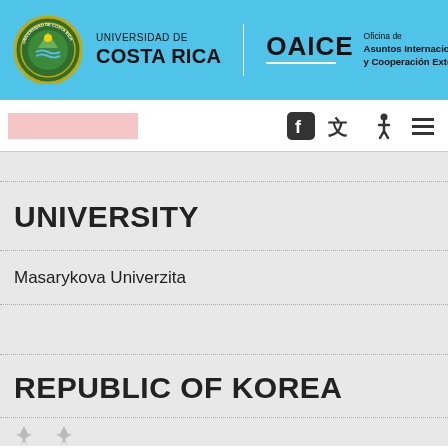UNIVERSIDAD DE COSTA RICA | OAICE Oficina de Asuntos Internacionales y Cooperación Externa
UNIVERSITY
Masarykova Univerzita
REPUBLIC OF KOREA